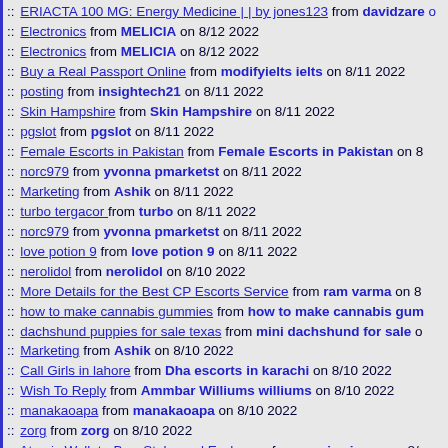:: ERIACTA 100 MG: Energy Medicine | | by jones123 from davidzare...
:: Electronics from MELICIA on 8/12 2022
:: Electronics from MELICIA on 8/12 2022
:: Buy a Real Passport Online from modifyielts ielts on 8/11 2022
:: posting from insightech21 on 8/11 2022
:: Skin Hampshire from Skin Hampshire on 8/11 2022
:: pgslot from pgslot on 8/11 2022
:: Female Escorts in Pakistan from Female Escorts in Pakistan on 8...
:: norc979 from yvonna pmarketst on 8/11 2022
:: Marketing from Ashik on 8/11 2022
:: turbo tergacor from turbo on 8/11 2022
:: norc979 from yvonna pmarketst on 8/11 2022
:: love potion 9 from love potion 9 on 8/11 2022
:: nerolidol from nerolidol on 8/10 2022
:: More Details for the Best CP Escorts Service from ram varma on 8...
:: how to make cannabis gummies from how to make cannabis gum...
:: dachshund puppies for sale texas from mini dachshund for sale o...
:: Marketing from Ashik on 8/10 2022
:: Call Girls in lahore from Dha escorts in karachi on 8/10 2022
:: Wish To Reply from Ammbar Williums williums on 8/10 2022
:: manakaoapa from manakaoapa on 8/10 2022
:: zorg from zorg on 8/10 2022
:: Atomic Wallet - Buy, Stake and Exchange from mariya jones on 8/...
:: SMM Panel from PakSmartPanel on 8/10 2022
Get Smm Panel With #1 Top Smm Services | GOTOSMMPANE...
Get Smm Panel With #1 Top Smm Services | GOTOSMMPANB...
:: New Links from James on 8/10 2022
:: zorg from zorg on 8/10 2022
:: ksadfasfdasdgfaf from jadfgasdg on 8/10 2022
:: https://main7.net/crazy/ from &#53356;&#47112;&#51060;&#5164...